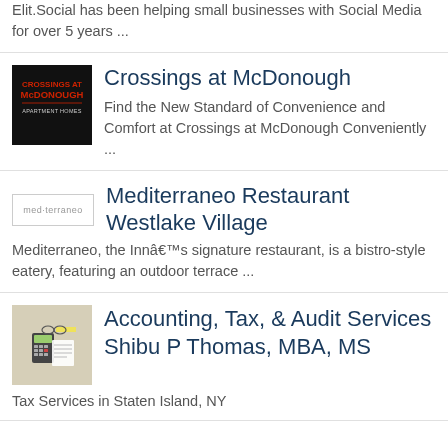Elit.Social has been helping small businesses with Social Media for over 5 years ...
Crossings at McDonough
Find the New Standard of Convenience and Comfort at Crossings at McDonough Conveniently ...
Mediterraneo Restaurant Westlake Village
Mediterraneo, the Innâ€™s signature restaurant, is a bistro-style eatery, featuring an outdoor terrace ...
Accounting, Tax, & Audit Services Shibu P Thomas, MBA, MS
Tax Services in Staten Island, NY